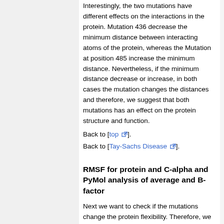Interestingly, the two mutations have different effects on the interactions in the protein. Mutation 436 decrease the minimum distance between interacting atoms of the protein, whereas the Mutation at position 485 increase the minimum distance. Nevertheless, if the minimum distance decrease or increase, in both cases the mutation changes the distances and therefore, we suggest that both mutations has an effect on the protein structure and function.
Back to [top]. Back to [Tay-Sachs Disease].
RMSF for protein and C-alpha and PyMol analysis of average and B-factor
Next we want to check if the mutations change the protein flexibility. Therefore, we calculate the RMSF for the complete protein and the C-alpha atoms to have the possibility to differ between flexibility at the side chains and flexibility of the back bone. Furthermore, the